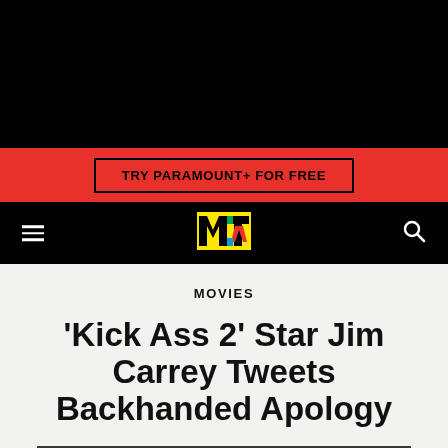[Figure (screenshot): Black top bar area (navigation/ad space background)]
TRY PARAMOUNT+ FOR FREE
[Figure (logo): MTV logo in yellow on black navigation bar with hamburger menu and search icon]
MOVIES
'Kick Ass 2' Star Jim Carrey Tweets Backhanded Apology
[Figure (photo): Dark gray image at bottom, partially cropped]